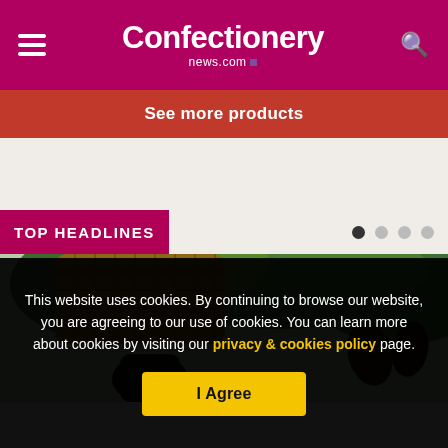Confectionery news.com
See more products
TOP HEADLINES
[Figure (photo): Photo of a wicker basket and cocoa/tropical plant with green leaves and dark pods, outdoors]
This website uses cookies. By continuing to browse our website, you are agreeing to our use of cookies. You can learn more about cookies by visiting our privacy & cookies policy page.
I Agree